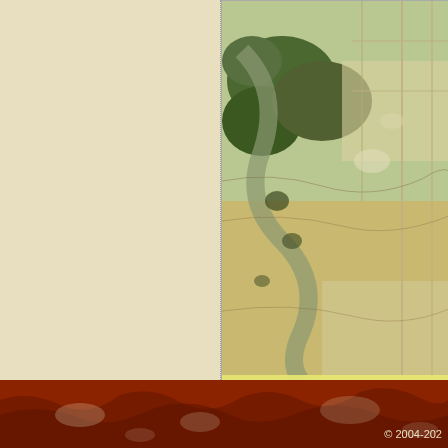[Figure (map): Aerial photography overlayed with USGS TOPO map data showing agricultural fields, tree lines, and rural roads in Bond County, Illinois. Exported with the TatukGIS Viewer.]
Aerial Photography overlayed with US... You must purchase both USGS TOPO...
Larger sample of Aerial with TOPO - P...
Here are instructions for making the A...
2005 2 meter color imagery for Bond C...
https://www.landsat.com/bond-county-illin...
2005 Aerial Photography of Bond County...
Global Mapper.
Image Trader
Product ID: CD-IL-17005-2nc2005
$19.99 New In Stock
© 2004-202...